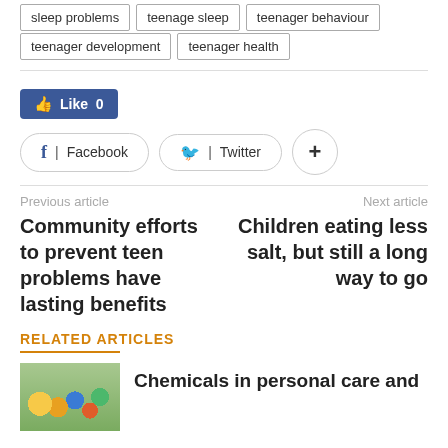sleep problems
teenage sleep
teenager behaviour
teenager development
teenager health
[Figure (screenshot): Facebook Like button showing count 0, Facebook share button, Twitter share button, and a plus (+) more button]
Previous article
Community efforts to prevent teen problems have lasting benefits
Next article
Children eating less salt, but still a long way to go
RELATED ARTICLES
Chemicals in personal care and